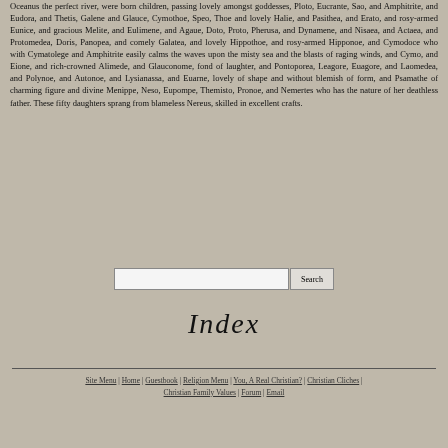Oceanus the perfect river, were born children, passing lovely amongst goddesses, Ploto, Eucrante, Sao, and Amphitrite, and Eudora, and Thetis, Galene and Glauce, Cymothoe, Speo, Thoe and lovely Halie, and Pasithea, and Erato, and rosy-armed Eunice, and gracious Melite, and Eulimene, and Agaue, Doto, Proto, Pherusa, and Dynamene, and Nisaea, and Actaea, and Protomedea, Doris, Panopea, and comely Galatea, and lovely Hippothoe, and rosy-armed Hipponoe, and Cymodoce who with Cymatolege and Amphitrite easily calms the waves upon the misty sea and the blasts of raging winds, and Cymo, and Eione, and rich-crowned Alimede, and Glauconome, fond of laughter, and Pontoporea, Leagore, Euagore, and Laomedea, and Polynoe, and Autonoe, and Lysianassa, and Euarne, lovely of shape and without blemish of form, and Psamathe of charming figure and divine Menippe, Neso, Eupompe, Themisto, Pronoe, and Nemertes who has the nature of her deathless father. These fifty daughters sprang from blameless Nereus, skilled in excellent crafts.
[Figure (other): Search input box with Search button]
Index
Site Menu | Home | Guestbook | Religion Menu | You, A Real Christian? | Christian Cliches | Christian Family Values | Forum | Email